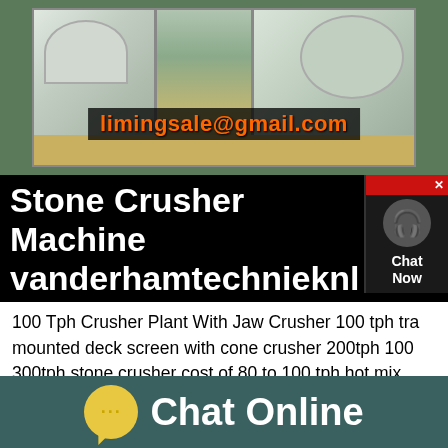[Figure (photo): Industrial stone crusher machines on a construction site floor, with email address limingsale@gmail.com overlaid in orange text on dark background]
Stone Crusher Machine vanderhamtechnieknl
100 Tph Crusher Plant With Jaw Crusher 100 tph tra mounted deck screen with cone crusher 200tph 100 300tph stone crusher cost of 80 to 100 tph hot mix plant in india 100 ton per hour gold crushers 100 tph cement ball mill grinding bauxite to 100 mesh machine for iron crush ore in 100 cone crusher and screen under 100 100 tpd sand washing machine plant costs100
[Figure (other): Chat Online button bar with yellow speech bubble icon and white text on teal background]